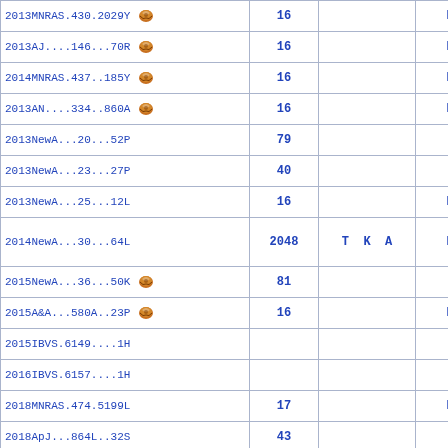| Reference | N | Middle | Flag |
| --- | --- | --- | --- |
| 2013MNRAS.430.2029Y [vizier] | 16 |  | D |
| 2013AJ....146...70R [vizier] | 16 |  | D |
| 2014MNRAS.437..185Y [vizier] | 16 |  | D |
| 2013AN....334..860A [vizier] | 16 |  | D |
| 2013NewA...20...52P | 79 |  |  |
| 2013NewA...23...27P | 40 |  |  |
| 2013NewA...25...12L | 16 |  | D |
| 2014NewA...30...64L | 2048 | T K A | D |
| 2015NewA...36...50K [vizier] | 81 |  |  |
| 2015A&A...580A..23P [vizier] | 16 |  | D |
| 2015IBVS.6149....1H |  |  |  |
| 2016IBVS.6157....1H |  |  |  |
| 2018MNRAS.474.5199L | 17 |  | D |
| 2018ApJ...864L..32S | 43 |  |  |
| 2018AJ....156..199S [vizier] | 43 |  |  |
| 2018RAA....18...55X | 17 |  | D |
| 2019A&A...623A..72K [vizier] | 17 |  | D |